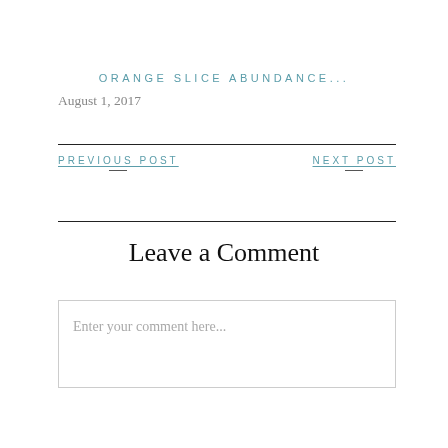ORANGE SLICE ABUNDANCE...
August 1, 2017
PREVIOUS POST
NEXT POST
Leave a Comment
Enter your comment here...